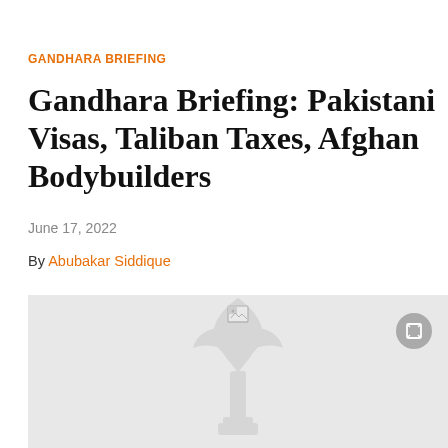GANDHARA BRIEFING
Gandhara Briefing: Pakistani Visas, Taliban Taxes, Afghan Bodybuilders
June 17, 2022
By Abubakar Siddique
[Figure (illustration): Gray placeholder image area with a faint RFE/RL torch-and-flame watermark logo centered, and a small broken image icon at top center. A gray circular expand/fullscreen button appears in the upper right corner.]